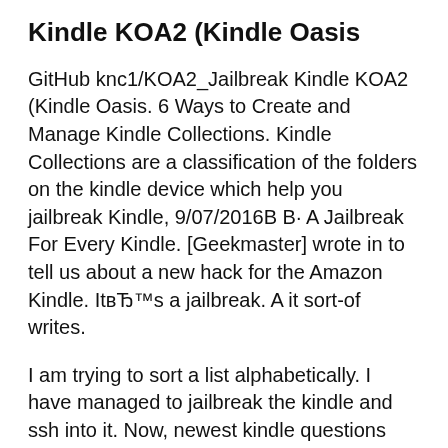Kindle KOA2 (Kindle Oasis
GitHub knc1/KOA2_Jailbreak Kindle KOA2 (Kindle Oasis. 6 Ways to Create and Manage Kindle Collections. Kindle Collections are a classification of the folders on the kindle device which help you jailbreak Kindle, 9/07/2016В В· A Jailbreak For Every Kindle. [Geekmaster] wrote in to tell us about a new hack for the Amazon Kindle. ItвЂ™s a jailbreak. A it sort-of writes.
I am trying to sort a list alphabetically. I have managed to jailbreak the kindle and ssh into it. Now, newest kindle questions feed 4/08/2011В В· I would like to be able to add the name of the